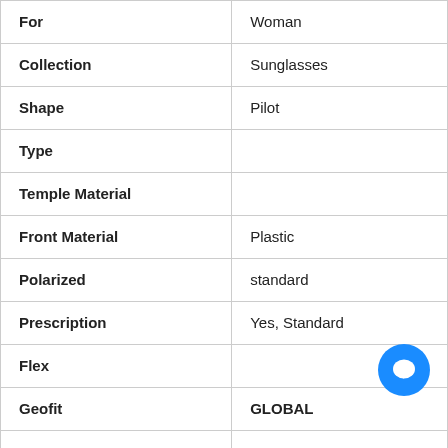| Attribute | Value |
| --- | --- |
| For | Woman |
| Collection | Sunglasses |
| Shape | Pilot |
| Type |  |
| Temple Material |  |
| Front Material | Plastic |
| Polarized | standard |
| Prescription | Yes, Standard |
| Flex |  |
| Geofit | GLOBAL |
|  |  |